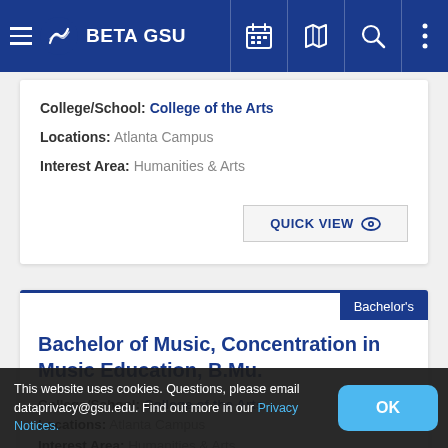BETA GSU
College/School: College of the Arts
Locations: Atlanta Campus
Interest Area: Humanities & Arts
QUICK VIEW
Bachelor's
Bachelor of Music, Concentration in Music Education, B.Mu.
College/School: College of the Arts
Locations: Atlanta Campus
Interest Area: Humanities & Arts
This website uses cookies. Questions, please email dataprivacy@gsu.edu. Find out more in our Privacy Notices.